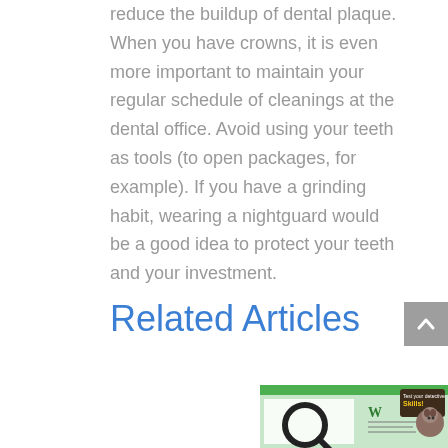reduce the buildup of dental plaque. When you have crowns, it is even more important to maintain your regular schedule of cleanings at the dental office. Avoid using your teeth as tools (to open packages, for example). If you have a grinding habit, wearing a nightguard would be a good idea to protect your teeth and your investment.
Related Articles
[Figure (screenshot): Partial view of a related article thumbnail showing a green background with text and an illustration]